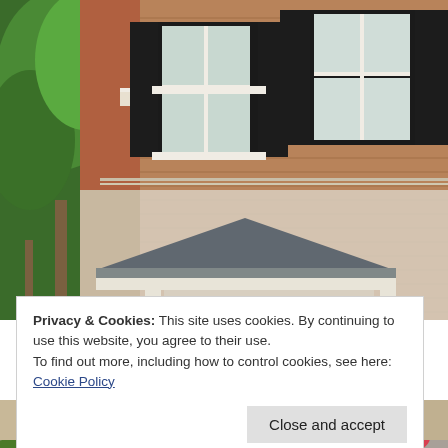[Figure (photo): Exterior of a historic brick building with white-framed windows with black shutters, white painted brick lower section with a slate-roofed portico/awning, and green trees on the left side.]
Privacy & Cookies: This site uses cookies. By continuing to use this website, you agree to their use.
To find out more, including how to control cookies, see here: Cookie Policy
[Figure (photo): Partial view of another building exterior with flowers (roses) visible at the bottom of the page.]